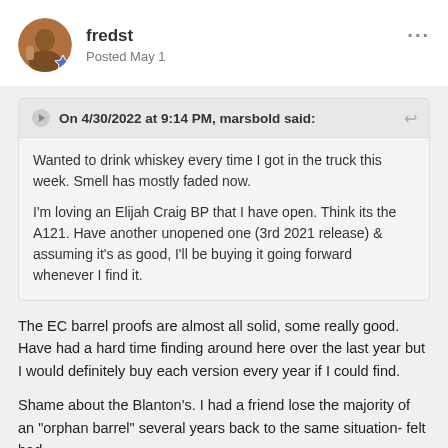fredst
Posted May 1
On 4/30/2022 at 9:14 PM, marsbold said:
Wanted to drink whiskey every time I got in the truck this week. Smell has mostly faded now.

I'm loving an Elijah Craig BP that I have open. Think its the A121. Have another unopened one (3rd 2021 release) & assuming it's as good, I'll be buying it going forward whenever I find it.
The EC barrel proofs are almost all solid, some really good. Have had a hard time finding around here over the last year but I would definitely buy each version every year if I could find.
Shame about the Blanton's. I had a friend lose the majority of an "orphan barrel" several years back to the same situation- felt bad